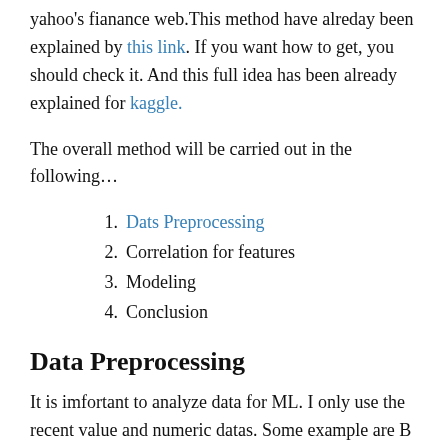yahoo's fianance web.This method have alreday been explained by this link. If you want how to get, you should check it. And this full idea has been already explained for kaggle.
The overall method will be carried out in the following...
1. Dats Preprocessing
2. Correlation for features
3. Modeling
4. Conclusion
Data Preprocessing
It is imfortant to analyze data for ML. I only use the recent value and numeric datas. Some example are B (bilion) -> 10^9 and etc... Link. And then, I load preprocessed data.
Running Data Preprocessing